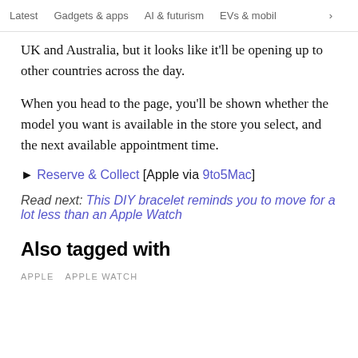Latest   Gadgets & apps   AI & futurism   EVs & mobil  >
UK and Australia, but it looks like it'll be opening up to other countries across the day.
When you head to the page, you'll be shown whether the model you want is available in the store you select, and the next available appointment time.
► Reserve & Collect [Apple via 9to5Mac]
Read next: This DIY bracelet reminds you to move for a lot less than an Apple Watch
Also tagged with
APPLE   APPLE WATCH